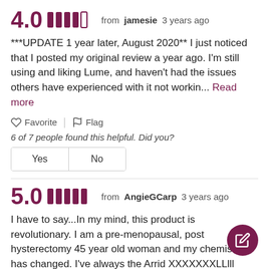4.0  from  jamesie  3 years ago
***UPDATE 1 year later, August 2020** I just noticed that I posted my original review a year ago. I'm still using and liking Lume, and haven't had the issues others have experienced with it not workin... Read more
Favorite  |  Flag
6 of 7 people found this helpful. Did you?
Yes  No
5.0  from  AngieGCarp  3 years ago
I have to say...In my mind, this product is revolutionary. I am a pre-menopausal, post hysterectomy 45 year old woman and my chemistry has changed. I've always the Arrid XXXXXXXLLlll spray deodor... Read more